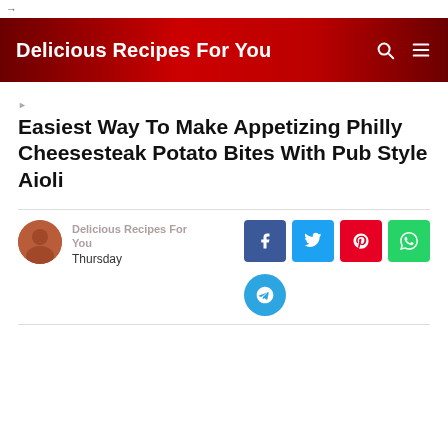→
Delicious Recipes For You
Easiest Way To Make Appetizing Philly Cheesesteak Potato Bites With Pub Style Aioli
Delicious Recipes For You
Thursday
[Figure (infographic): Social share buttons: Facebook (blue), Twitter (light blue), Pinterest (red), WhatsApp (green), Telegram (blue circle)]
[Figure (photo): Author avatar - circular profile photo with brownish tones]